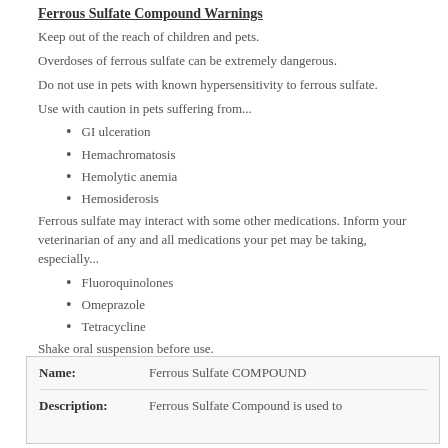Ferrous Sulfate Compound Warnings
Keep out of the reach of children and pets.
Overdoses of ferrous sulfate can be extremely dangerous.
Do not use in pets with known hypersensitivity to ferrous sulfate.
Use with caution in pets suffering from...
GI ulceration
Hemachromatosis
Hemolytic anemia
Hemosiderosis
Ferrous sulfate may interact with some other medications. Inform your veterinarian of any and all medications your pet may be taking, especially...
Fluoroquinolones
Omeprazole
Tetracycline
Shake oral suspension before use.
Store at room temperature, protected from light and moisture.
| Name | Description |
| --- | --- |
| Ferrous Sulfate COMPOUND | Ferrous Sulfate Compound is used to |